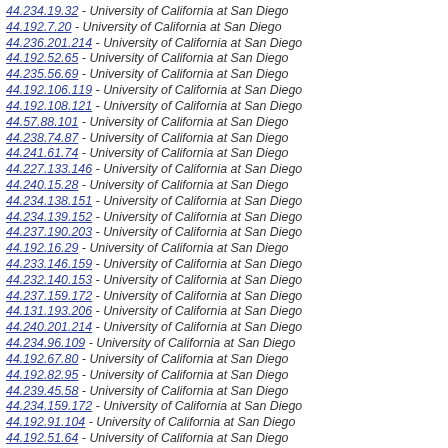44.234.19.32 - University of California at San Diego
44.192.7.20 - University of California at San Diego
44.236.201.214 - University of California at San Diego
44.192.52.65 - University of California at San Diego
44.235.56.69 - University of California at San Diego
44.192.106.119 - University of California at San Diego
44.192.108.121 - University of California at San Diego
44.57.88.101 - University of California at San Diego
44.238.74.87 - University of California at San Diego
44.241.61.74 - University of California at San Diego
44.227.133.146 - University of California at San Diego
44.240.15.28 - University of California at San Diego
44.234.138.151 - University of California at San Diego
44.234.139.152 - University of California at San Diego
44.237.190.203 - University of California at San Diego
44.192.16.29 - University of California at San Diego
44.233.146.159 - University of California at San Diego
44.232.140.153 - University of California at San Diego
44.237.159.172 - University of California at San Diego
44.131.193.206 - University of California at San Diego
44.240.201.214 - University of California at San Diego
44.234.96.109 - University of California at San Diego
44.192.67.80 - University of California at San Diego
44.192.82.95 - University of California at San Diego
44.239.45.58 - University of California at San Diego
44.234.159.172 - University of California at San Diego
44.192.91.104 - University of California at San Diego
44.192.51.64 - University of California at San Diego
44.237.145.158 - University of California at San Diego
44.233.75.88 - University of California at San Diego